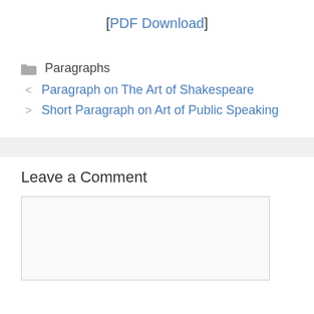[PDF Download]
Paragraphs
Paragraph on The Art of Shakespeare
Short Paragraph on Art of Public Speaking
Leave a Comment